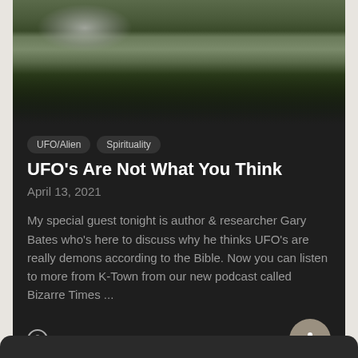[Figure (photo): Aerial landscape photo showing green hillside fields with misty clouds and dark pine trees, moody dark atmosphere]
UFO/Alien
Spirituality
UFO's Are Not What You Think
April 13, 2021
My special guest tonight is author & researcher Gary Bates who's here to discuss why he thinks UFO's are really demons according to the Bible. Now you can listen to more from K-Town from our new podcast called Bizarre Times ...
Guest: Gary Bates